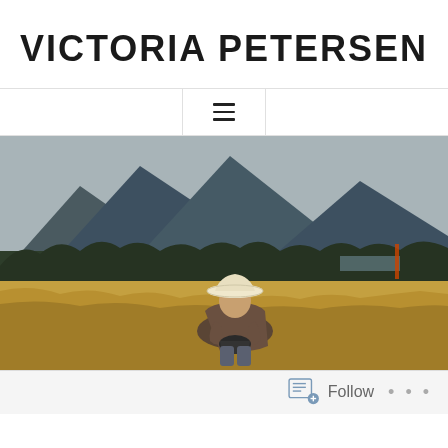VICTORIA PETERSEN
[Figure (screenshot): Hamburger/menu icon (three horizontal lines) in a bordered nav box]
[Figure (photo): An elderly man in a white cowboy hat sitting in a golden wheat field, with mountains and forest in the background]
Follow ...